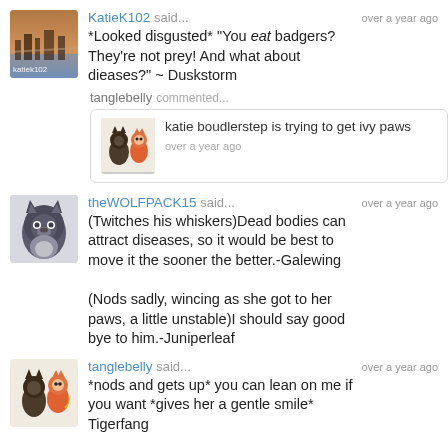[Figure (photo): Avatar image for KatieK102 showing a cityscape/bridge scene with reddish tones, with text 'katiek102' overlay]
KatieK102 said...   over a year ago
*Looked disgusted* "You eat badgers? They're not prey! And what about dieases?" ~ Duskstorm
[Figure (illustration): Avatar image for tanglebelly showing two cartoon cat/pokemon characters]
tanglebelly commented...
katie boudlerstep is trying to get ivy paws
over a year ago
[Figure (illustration): Avatar image for theWOLFPACK15 showing a dark cartoon wolf/cat character]
theWOLFPACK15 said...   over a year ago
(Twitches his whiskers)Dead bodies can attract diseases, so it would be best to move it the sooner the better.-Galewing

(Nods sadly, wincing as she got to her paws, a little unstable)I should say good bye to him.-Juniperleaf
[Figure (illustration): Avatar image for tanglebelly showing two cartoon cat/pokemon characters]
tanglebelly said...   over a year ago
*nods and gets up* you can lean on me if you want *gives her a gentle smile* Tigerfang